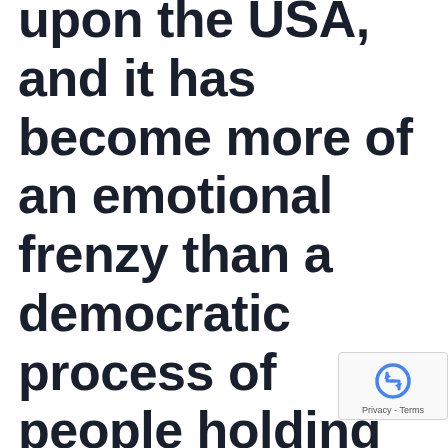upon the USA, and it has become more of an emotional frenzy than a democratic process of people holding their government accountable.
[Figure (logo): Google reCAPTCHA badge with recycling-arrow logo icon and 'Privacy - Terms' text link]